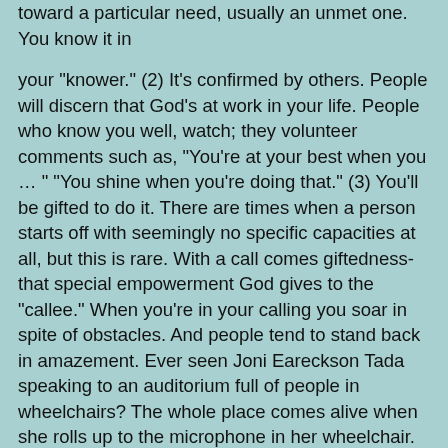toward a particular need, usually an unmet one. You know it in
your "knower." (2) It's confirmed by others. People will discern that God's at work in your life. People who know you well, watch; they volunteer comments such as, "You're at your best when you … " "You shine when you're doing that." (3) You'll be gifted to do it. There are times when a person starts off with seemingly no specific capacities at all, but this is rare. With a call comes giftedness-that special empowerment God gives to the "callee." When you're in your calling you soar in spite of obstacles. And people tend to stand back in amazement. Ever seen Joni Eareckson Tada speaking to an auditorium full of people in wheelchairs? The whole place comes alive when she rolls up to the microphone in her wheelchair. (4) You'll see results! You'll change things, touch lives and glorify God. St. Patrick had a dream in which the Irish people were saying, "We appeal to you, Holy Servant Boy, to come and walk among us." And Patrick responded. He combed the Irish countryside preaching to chiefs and kings. An entire nation began its